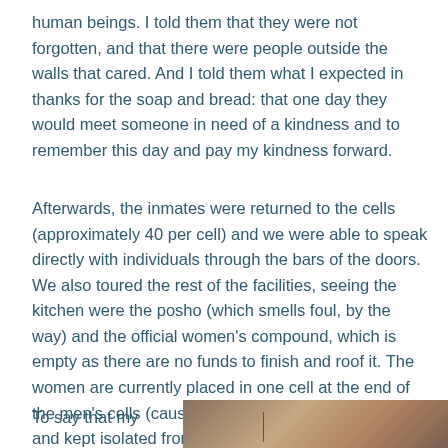human beings. I told them that they were not forgotten, and that there were people outside the walls that cared. And I told them what I expected in thanks for the soap and bread: that one day they would meet someone in need of a kindness and to remember this day and pay my kindness forward.
Afterwards, the inmates were returned to the cells (approximately 40 per cell) and we were able to speak directly with individuals through the bars of the doors. We also toured the rest of the facilities, seeing the kitchen were the posho (which smells foul, by the way) and the official women's compound, which is empty as there are no funds to finish and roof it. The women are currently placed in one cell at the end of the men's cells (causing more crowding with the men) and kept isolated from them.
To say that my
[Figure (photo): A dark interior photo, partially visible at the bottom right of the page]